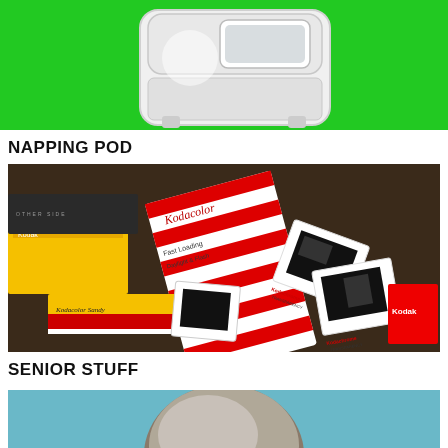[Figure (photo): Photo of a napping pod on green background, showing a white pod-like sleeping unit]
NAPPING POD
[Figure (photo): Photo of a collection of vintage Kodak film boxes and Kodachrome transparency slides scattered together]
SENIOR STUFF
[Figure (photo): Partial photo of a person's head viewed from behind/side, partially cropped at the bottom of the page]